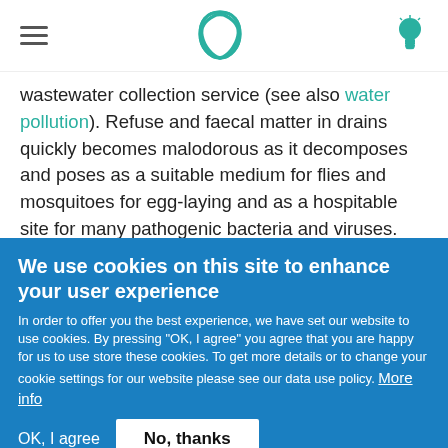Navigation bar with hamburger menu, logo, and lightbulb icon
wastewater collection service (see also water pollution). Refuse and faecal matter in drains quickly becomes malodorous as it decomposes and poses as a suitable medium for flies and mosquitoes for egg-laying and as a hospitable site for many pathogenic bacteria and viruses. Removal of such material from the drains is not a popular task (WHO 1992), but
We use cookies on this site to enhance your user experience
In order to offer you the best experience, we have set our website to use cookies. By pressing "OK, I agree" you agree that you are happy for us to use store these cookies. To get more details or to change your cookie settings for our website please see our data use policy. More info
OK, I agree
No, thanks